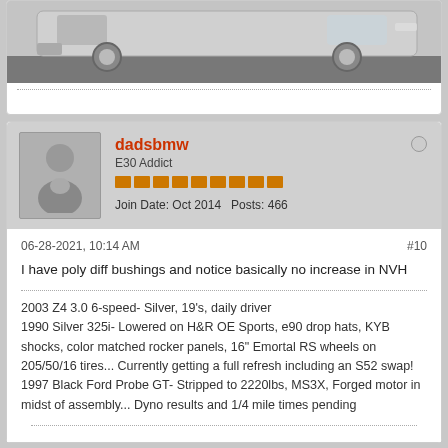[Figure (photo): Partial view of a silver BMW car from the front-bottom angle, showing wheels and bumper area]
dadsbmw
E30 Addict
Join Date: Oct 2014    Posts: 466
06-28-2021, 10:14 AM    #10
I have poly diff bushings and notice basically no increase in NVH
2003 Z4 3.0 6-speed- Silver, 19's, daily driver
1990 Silver 325i- Lowered on H&R OE Sports, e90 drop hats, KYB shocks, color matched rocker panels, 16" Emortal RS wheels on 205/50/16 tires... Currently getting a full refresh including an S52 swap!
1997 Black Ford Probe GT- Stripped to 2220lbs, MS3X, Forged motor in midst of assembly... Dyno results and 1/4 mile times pending